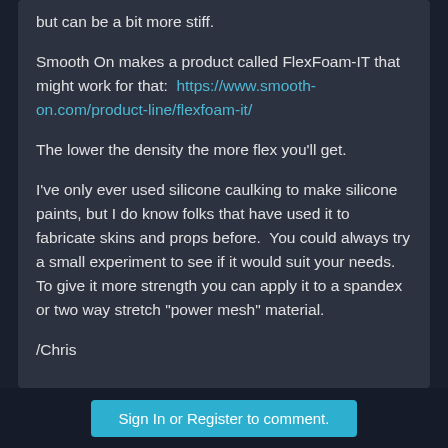but can be a bit more stiff.

Smooth On makes a product called FlexFoam-IT that might work for that:  https://www.smooth-on.com/product-line/flexfoam-it/

The lower the density the more flex you'll get.

I've only ever used silicone caulking to make silicone paints, but I do know folks that have used it to fabricate skins and props before.  You could always try a small experiment to see if it would suit your needs.  To give it more strength you can apply it to a spandex or two way stretch "power mesh" material.

/Chris
Sign In or Register to comment.